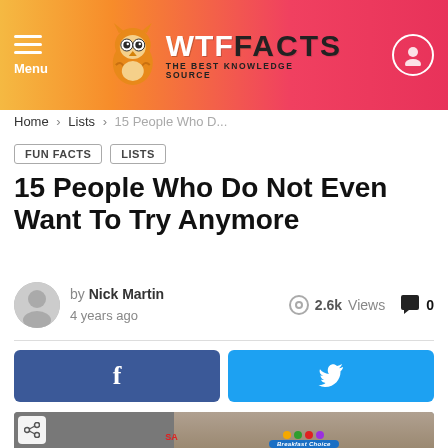WTF Facts – THE BEST KNOWLEDGE SOURCE
Home › Lists › 15 People Who D...
FUN FACTS
LISTS
15 People Who Do Not Even Want To Try Anymore
by Nick Martin
4 years ago
2.6k Views
0
[Figure (other): Facebook share button (blue) and Twitter share button (cyan) side by side]
[Figure (photo): Partial photo of a Breakfast Choice product box with colorful dots and red text at bottom, with a share icon overlay]